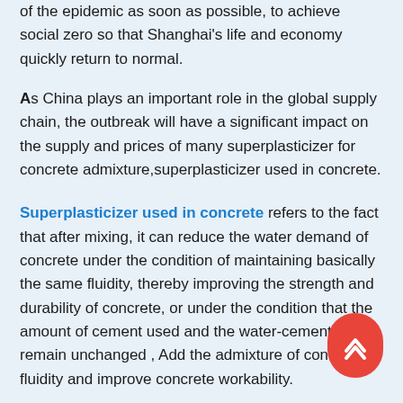of the epidemic as soon as possible, to achieve social zero so that Shanghai's life and economy quickly return to normal.
As China plays an important role in the global supply chain, the outbreak will have a significant impact on the supply and prices of many superplasticizer for concrete admixture,superplasticizer used in concrete.
Superplasticizer used in concrete refers to the fact that after mixing, it can reduce the water demand of concrete under the condition of maintaining basically the same fluidity, thereby improving the strength and durability of concrete, or under the condition that the amount of cement used and the water-cement ratio remain unchanged , Add the admixture of concrete fluidity and improve concrete workability.